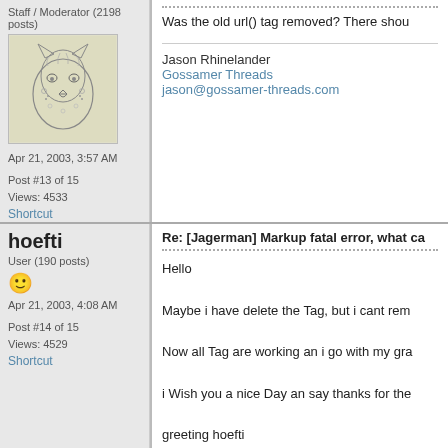Staff / Moderator (2198 posts)
[Figure (illustration): Pencil sketch of a leopard/cheetah head facing forward]
Apr 21, 2003, 3:57 AM
Post #13 of 15
Views: 4533
Shortcut
Was the old url() tag removed? There shou
Jason Rhinelander
Gossamer Threads
jason@gossamer-threads.com
hoefti
User (190 posts)
Apr 21, 2003, 4:08 AM
Post #14 of 15
Views: 4529
Shortcut
Re: [Jagerman] Markup fatal error, what ca
Hello

Maybe i have delete the Tag, but i cant rem

Now all Tag are working an i go with my gra

i Wish you a nice Day an say thanks for the

greeting hoefti